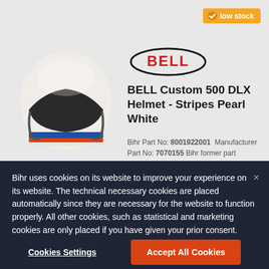[Figure (screenshot): Bell Custom 500 DLX motorcycle helmet product page screenshot with cookie consent overlay]
BELL Custom 500 DLX Helmet - Stripes Pearl White
Bihr Part No: 8001922001  Manufacturer Part No: 7070155 Bihr former part number: 7070155
191.66€
Bihr uses cookies on its website to improve your experience on its website. The technical necessary cookies are placed automatically since they are necessary for the website to function properly. All other cookies, such as statistical and marketing cookies are only placed if you have given your prior consent.
Cookies Settings
Accept All Cookies